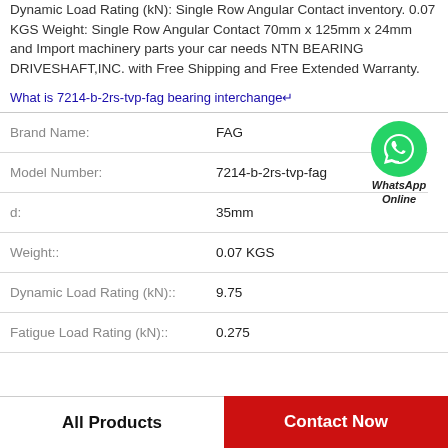Dynamic Load Rating (kN): Single Row Angular Contact inventory. 0.07 KGS Weight: Single Row Angular Contact 70mm x 125mm x 24mm and Import machinery parts your car needs NTN BEARING DRIVESHAFT,INC. with Free Shipping and Free Extended Warranty.
What is 7214-b-2rs-tvp-fag bearing interchange↵
| Property | Value |
| --- | --- |
| Brand Name: | FAG |
| Model Number: | 7214-b-2rs-tvp-fag |
| d: | 35mm |
| Weight:: | 0.07 KGS |
| Dynamic Load Rating (kN):: | 9.75 |
| Fatigue Load Rating (kN):: | 0.275 |
[Figure (logo): WhatsApp Online green circle logo with phone icon and text 'WhatsApp Online']
All Products
Contact Now